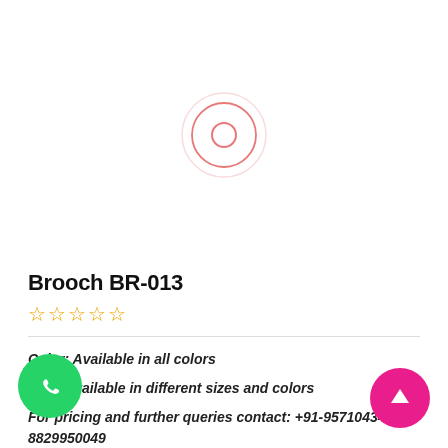[Figure (other): Loading spinner / camera icon — concentric salmon-pink circles with inner circle outline, centered in upper white area]
Brooch BR-013
☆☆☆☆☆
Color: Available in all colors
Size: Available in different sizes and colors
For pricing and further queries contact: +91-9571043464 / 8829950049